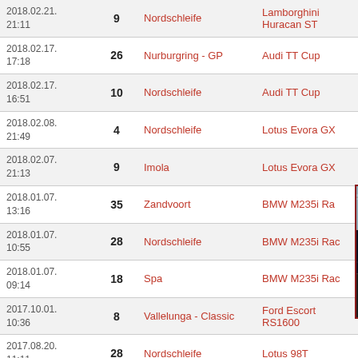| Date | # | Track | Car |
| --- | --- | --- | --- |
| 2018.02.21.
21:11 | 9 | Nordschleife | Lamborghini Huracan ST |
| 2018.02.17.
17:18 | 26 | Nurburgring - GP | Audi TT Cup |
| 2018.02.17.
16:51 | 10 | Nordschleife | Audi TT Cup |
| 2018.02.08.
21:49 | 4 | Nordschleife | Lotus Evora GX |
| 2018.02.07.
21:13 | 9 | Imola | Lotus Evora GX |
| 2018.01.07.
13:16 | 35 | Zandvoort | BMW M235i Ra... |
| 2018.01.07.
10:55 | 28 | Nordschleife | BMW M235i Ra... |
| 2018.01.07.
09:14 | 18 | Spa | BMW M235i Ra... |
| 2017.10.01.
10:36 | 8 | Vallelunga - Classic | Ford Escort RS1600 |
| 2017.08.20.
11:11 | 28 | Nordschleife | Lotus 98T |
| 2017.08.19.
08:37 | 34 | Imola | Lotus 98T |
| 2017.08.12.
19:06 | 4 | Nordschleife | Lotus Exos 125 |